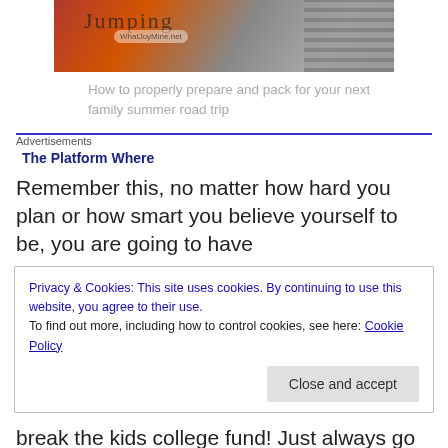[Figure (photo): Partial view of a road trip themed image with a car and tire, watermarked with WhatJoyMine.net]
How to properly prepare and pack for your next family summer road trip
Advertisements
The Platform Where
Remember this, no matter how hard you plan or how smart you believe yourself to be, you are going to have
Privacy & Cookies: This site uses cookies. By continuing to use this website, you agree to their use.
To find out more, including how to control cookies, see here: Cookie Policy
Close and accept
break the kids college fund! Just always go back to the